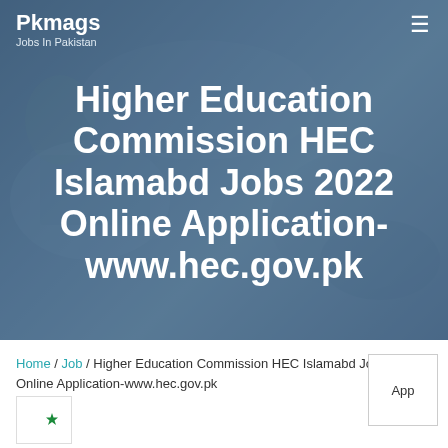Pkmags
Jobs In Pakistan
Higher Education Commission HEC Islamabd Jobs 2022 Online Application- www.hec.gov.pk
Home / Job / Higher Education Commission HEC Islamabd Jobs 2022 Online Application-www.hec.gov.pk
[Figure (logo): Pakistan crescent and star logo in green]